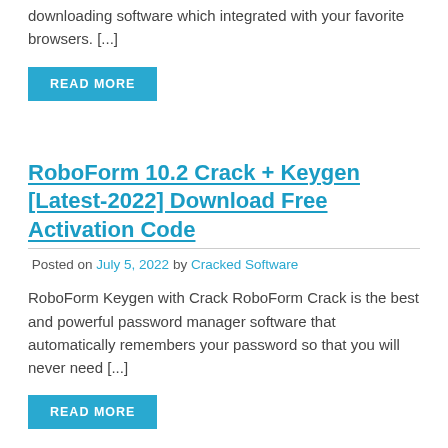downloading software which integrated with your favorite browsers. [...]
READ MORE
RoboForm 10.2 Crack + Keygen [Latest-2022] Download Free Activation Code
Posted on July 5, 2022 by Cracked Software
RoboForm Keygen with Crack RoboForm Crack is the best and powerful password manager software that automatically remembers your password so that you will never need [...]
READ MORE